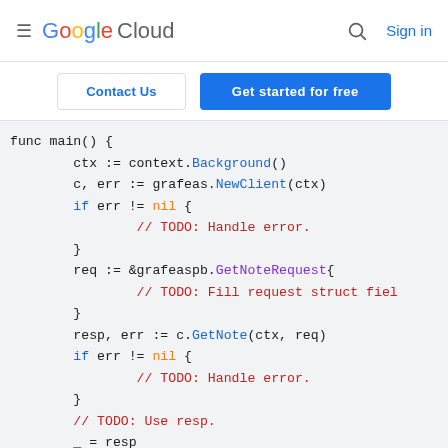Google Cloud  Sign in
Contact Us  Get started for free
[Figure (screenshot): Google Cloud documentation page showing Go code snippet for grafeas GetNote API call with context, client creation, request struct, and error handling. Code uses syntax highlighting: blue for keywords and method names, red for comments, orange for nil.]